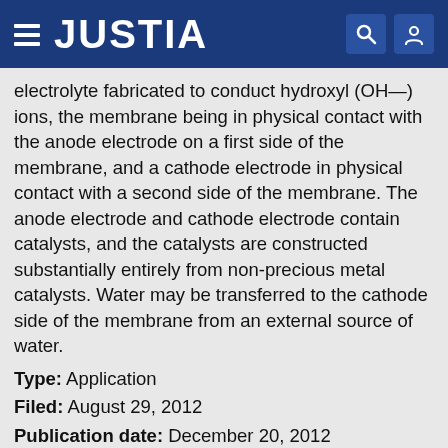JUSTIA
electrolyte fabricated to conduct hydroxyl (OH—) ions, the membrane being in physical contact with the anode electrode on a first side of the membrane, and a cathode electrode in physical contact with a second side of the membrane. The anode electrode and cathode electrode contain catalysts, and the catalysts are constructed substantially entirely from non-precious metal catalysts. Water may be transferred to the cathode side of the membrane from an external source of water.
Type: Application
Filed: August 29, 2012
Publication date: December 20, 2012
Applicant: CellEra, Inc.
Inventors: Shimshon Gottesfeld, Dario Dekel, Ziv Gottesfeld, David Stanislav Simakov